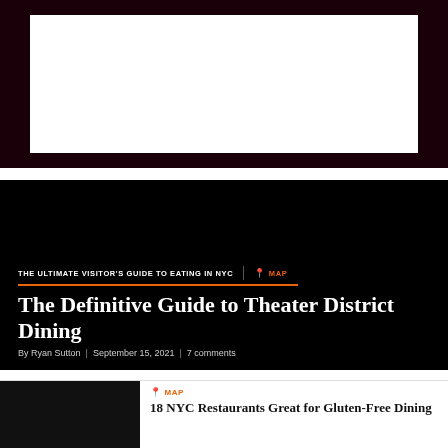[Figure (photo): Top banner area with dark red/maroon thick border surrounding a white rectangle, likely a placeholder for an advertisement or image.]
THE ULTIMATE VISITOR'S GUIDE TO EATING IN NYC
The Definitive Guide to Theater District Dining
By Ryan Sutton | September 15, 2021 | 7 comments
[Figure (photo): Small black thumbnail image placeholder for the related article.]
18 NYC Restaurants Great for Gluten-Free Dining